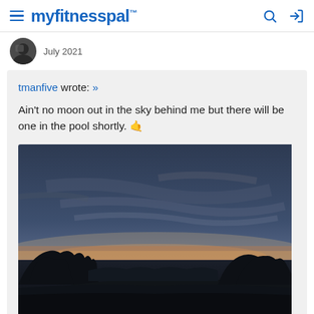myfitnesspal
July 2021
tmanfive wrote: »
Ain't no moon out in the sky behind me but there will be one in the pool shortly. 🤙
[Figure (photo): Outdoor twilight/sunset photo showing a dark field silhouetted against a colorful sky with orange glow at the horizon and dark blue-grey clouds above, with tree silhouettes on both sides.]